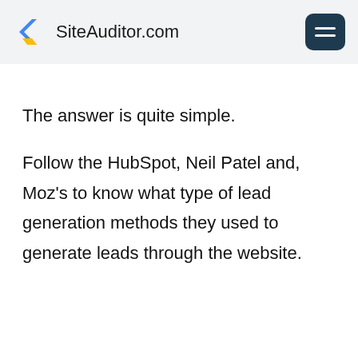SiteAuditor.com
The answer is quite simple.

Follow the HubSpot, Neil Patel and, Moz's to know what type of lead generation methods they used to generate leads through the website.